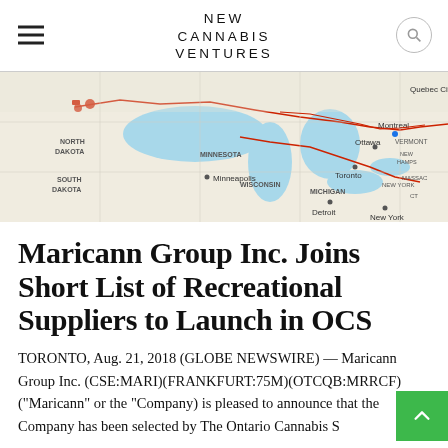NEW CANNABIS VENTURES
[Figure (map): Map showing the Great Lakes region including parts of Canada and the northern United States, with red highlighted borders along the US-Canada boundary, featuring cities like Toronto, Montreal, Quebec City, Ottawa, Minneapolis, Detroit, and New York.]
Maricann Group Inc. Joins Short List of Recreational Suppliers to Launch in OCS
TORONTO, Aug. 21, 2018 (GLOBE NEWSWIRE) — Maricann Group Inc. (CSE:MARI)(FRANKFURT:75M)(OTCQB:MRRCF) ("Maricann" or the "Company) is pleased to announce that the Company has been selected by The Ontario Cannabis S
- August 21st, 2018 at 8:59 am